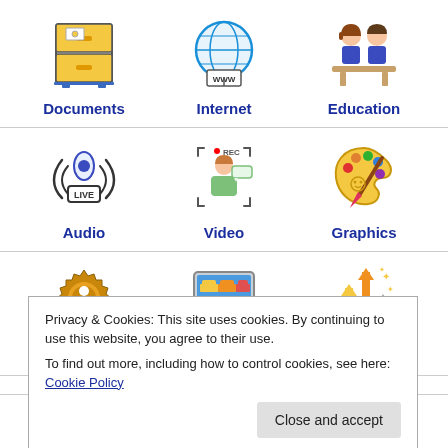[Figure (illustration): Grid of software category icons: Documents (filing cabinet), Internet (globe with WWW), Education (students at desk), Audio (microphone with LIVE badge), Video (person being recorded), Graphics (artist palette), Admin (gear with person), Desktop (computer monitor), Productivity (rising arrows)]
Privacy & Cookies: This site uses cookies. By continuing to use this website, you agree to their use.
To find out more, including how to control cookies, see here: Cookie Policy
Close and accept